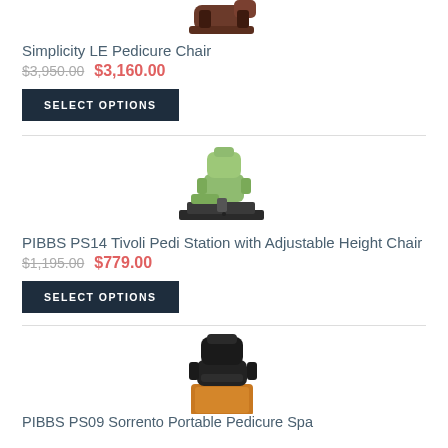[Figure (photo): Simplicity LE Pedicure Chair product image, dark brown/mahogany reclining chair, partially cropped at top]
Simplicity LE Pedicure Chair
$3,950.00  $3,160.00
SELECT OPTIONS
[Figure (photo): PIBBS PS14 Tivoli Pedi Station with Adjustable Height Chair, green upholstered chair with footrest platform]
PIBBS PS14 Tivoli Pedi Station with Adjustable Height Chair
$1,195.00  $779.00
SELECT OPTIONS
[Figure (photo): PIBBS PS09 Sorrento Portable Pedicure Spa chair, black upholstered with brown wood base, partially cropped at bottom]
PIBBS PS09 Sorrento Portable Pedicure Spa